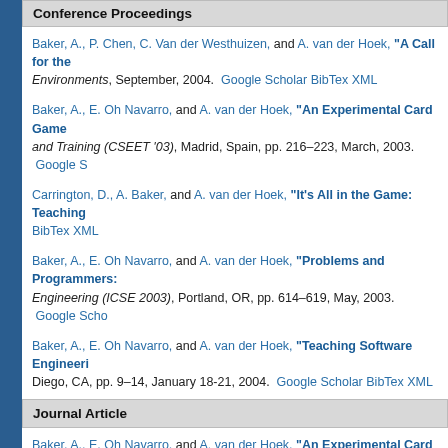Conference Proceedings
Baker, A., P. Chen, C. Van der Westhuizen, and A. van der Hoek, "A Call for the... Environments, September, 2004. Google Scholar BibTex XML
Baker, A., E. Oh Navarro, and A. van der Hoek, "An Experimental Card Game... and Training (CSEET '03), Madrid, Spain, pp. 216-223, March, 2003. Google S...
Carrington, D., A. Baker, and A. van der Hoek, "It's All in the Game: Teaching... BibTex XML
Baker, A., E. Oh Navarro, and A. van der Hoek, "Problems and Programmers:... Engineering (ICSE 2003), Portland, OR, pp. 614-619, May, 2003. Google Scho...
Baker, A., E. Oh Navarro, and A. van der Hoek, "Teaching Software Engineeri... Diego, CA, pp. 9-14, January 18-21, 2004. Google Scholar BibTex XML
Journal Article
Baker, A., E. Oh Navarro, and A. van der Hoek, "An Experimental Card Game... containing invited and expanded best papers from the 2003 International Confer... BibTex XML
Baker, A., and A. van der Hoek, "Ideas, subjects, and cycles as lenses for un... 2010. Google Scholar BibTex XML
Magazine Article